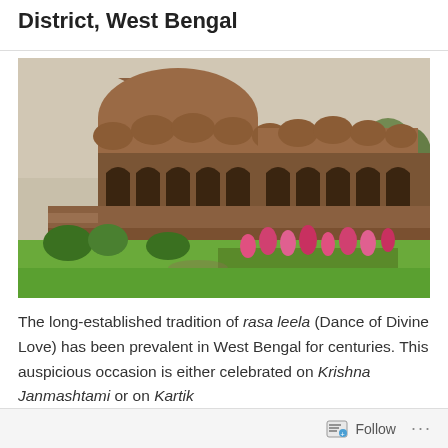District, West Bengal
[Figure (photo): Photograph of a large ancient terracotta brick temple complex with multiple arched alcoves, domes, and a stepped pyramid-like structure. In the foreground is a well-maintained garden with green grass, flowering pink and red plants, and shrubs. Trees are visible in the background under a hazy sky.]
The long-established tradition of rasa leela (Dance of Divine Love) has been prevalent in West Bengal for centuries. This auspicious occasion is either celebrated on Krishna Janmashtami or on Kartik